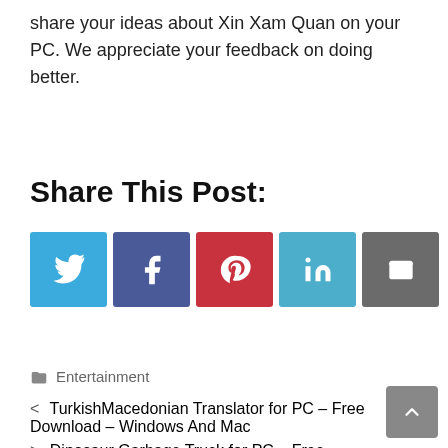share your ideas about Xin Xam Quan on your PC. We appreciate your feedback on doing better.
Share This Post:
[Figure (infographic): Five social share buttons: Twitter (blue), Facebook (dark blue), Pinterest (red), LinkedIn (light blue), Email (grey), each with their respective icons in white.]
Entertainment
< TurkishMacedonian Translator for PC – Free Download – Windows And Mac
> Dinosaur Garbage Truck for PC – Free Download – Windows And Mac